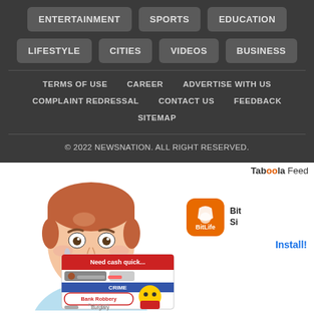ENTERTAINMENT  SPORTS  EDUCATION
LIFESTYLE  CITIES  VIDEOS  BUSINESS
TERMS OF USE  CAREER  ADVERTISE WITH US
COMPLAINT REDRESSAL  CONTACT US  FEEDBACK
SITEMAP
© 2022 NEWSNATION. ALL RIGHT RESERVED.
Taboola Feed
[Figure (illustration): Cartoon sad young man with red hair and a game app advertisement overlay showing BitLife bank robbery screen]